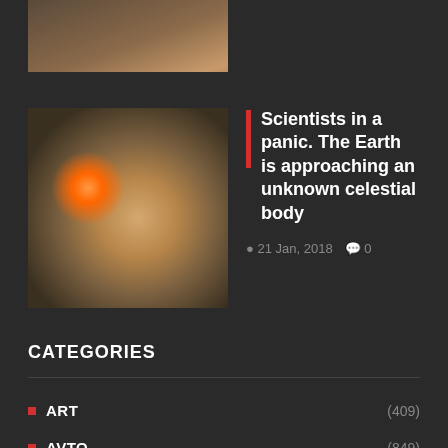[Figure (photo): Partial cropped image at top of page, showing a person]
[Figure (photo): Space/astronomy image showing a planet or celestial body with glowing light, a rocky asteroid or moon surface visible]
Scientists in a panic. The Earth is approaching an unknown celestial body
21 Jan, 2018  0
CATEGORIES
ART (409)
AVTO (849)
BUSINESS (161)
CINEMA (6575)
ENTERTAINMENT (8260)